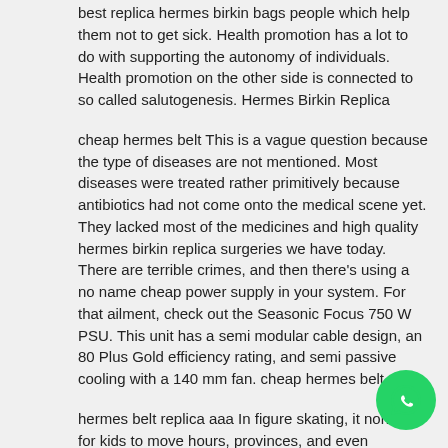best replica hermes birkin bags people which help them not to get sick. Health promotion has a lot to do with supporting the autonomy of individuals. Health promotion on the other side is connected to so called salutogenesis. Hermes Birkin Replica
cheap hermes belt This is a vague question because the type of diseases are not mentioned. Most diseases were treated rather primitively because antibiotics had not come onto the medical scene yet. They lacked most of the medicines and high quality hermes birkin replica surgeries we have today. There are terrible crimes, and then there's using a no name cheap power supply in your system. For that ailment, check out the Seasonic Focus 750 W PSU. This unit has a semi modular cable design, an 80 Plus Gold efficiency rating, and semi passive cooling with a 140 mm fan. cheap hermes belt
hermes belt replica aaa In figure skating, it normal for kids to move hours, provinces, and even countries away from their homes to train at more prestigious clubs. I understand the reasons. Better training facilities mean a more competitive replica hermes birkin bags...
[Figure (illustration): WhatsApp green circular button icon in the bottom right corner]